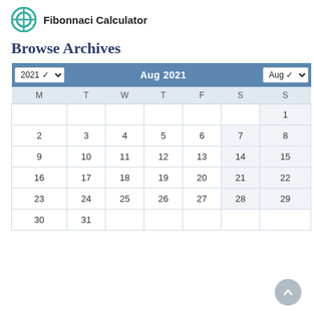Fibonnaci Calculator
Browse Archives
| M | T | W | T | F | S | S |
| --- | --- | --- | --- | --- | --- | --- |
|  |  |  |  |  |  | 1 |
| 2 | 3 | 4 | 5 | 6 | 7 | 8 |
| 9 | 10 | 11 | 12 | 13 | 14 | 15 |
| 16 | 17 | 18 | 19 | 20 | 21 | 22 |
| 23 | 24 | 25 | 26 | 27 | 28 | 29 |
| 30 | 31 |  |  |  |  |  |